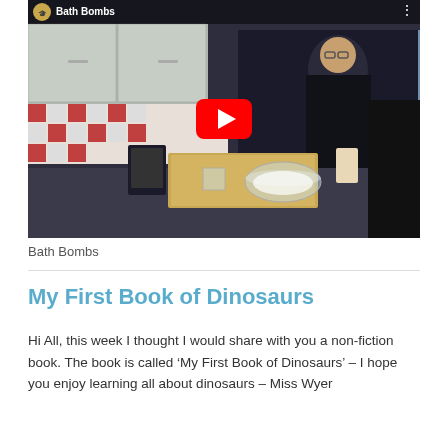[Figure (screenshot): YouTube video thumbnail showing a woman in a kitchen making bath bombs. The video is titled 'Bath Bombs' with a YouTube play button overlay. Kitchen counter visible with mixing bowls and ingredients on a wooden board.]
Bath Bombs
My First Book of Dinosaurs
Hi All, this week I thought I would share with you a non-fiction book. The book is called ‘My First Book of Dinosaurs’ – I hope you enjoy learning all about dinosaurs – Miss Wyer